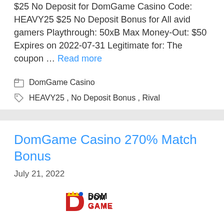$25 No Deposit for DomGame Casino Code: HEAVY25 $25 No Deposit Bonus for All avid gamers Playthrough: 50xB Max Money-Out: $50 Expires on 2022-07-31 Legitimate for: The coupon … Read more
DomGame Casino
HEAVY25 , No Deposit Bonus , Rival
DomGame Casino 270% Match Bonus
July 21, 2022
[Figure (logo): DomGame casino logo with stylized crown icon, red 'D' with yellow/blue crown, text DOMGAME in dark/red letters]